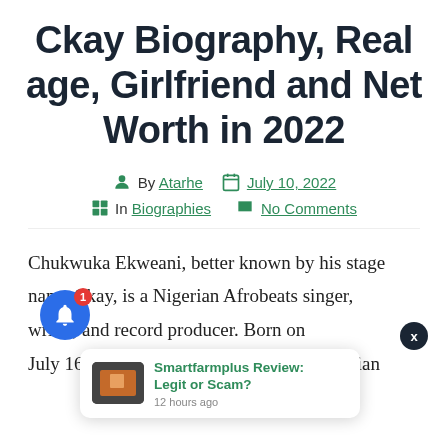Ckay Biography, Real age, Girlfriend and Net Worth in 2022
By Atarhe   July 10, 2022   In Biographies   No Comments
Chukwuka Ekweani, better known by his stage name Ckay, is a Nigerian Afrobeats singer, songwriter, and record producer. Born on July 16, 1995. Ckay is a well-known musician
[Figure (screenshot): Notification popup card showing 'Smartfarmplus Review: Legit or Scam?' with thumbnail image and '12 hours ago' timestamp, plus a blue notification bell button with red badge showing '1', and a dark X close button.]